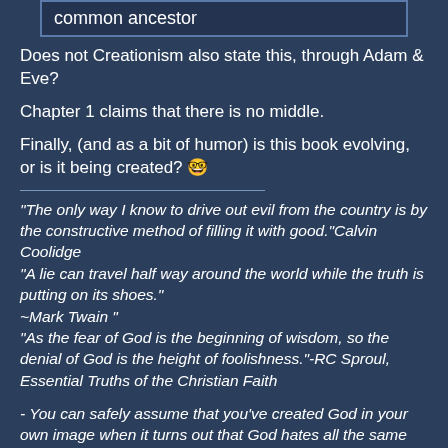common ancestor
Does not Creationism also state this, through Adam & Eve?
Chapter 1 claims that there is no middle.
Finally, (and as a bit of humor) is this book evolving, or is it being created? 🤓
"The only way I know to drive out evil from the country is by the constructive method of filling it with good."Calvin Coolidge
"A lie can travel half way around the world while the truth is putting on its shoes."
~Mark Twain "
"As the fear of God is the beginning of wisdom, so the denial of God is the height of foolishness."-RC Sproul, Essential Truths of the Christian Faith
- You can safely assume that you've created God in your own image when it turns out that God hates all the same people you do. Anne Lamott